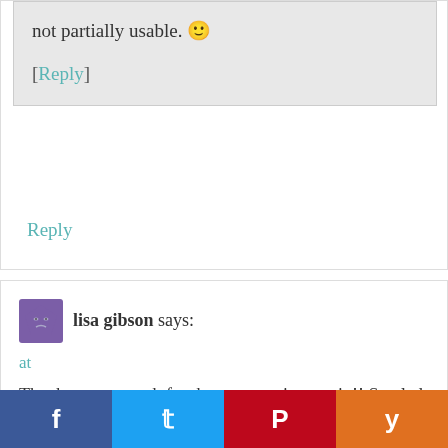not partially usable. 🙂
[Reply]
Reply
[Figure (illustration): User avatar for lisa gibson, purple pentagon-shaped character with sleepy face]
lisa gibson says:
at
Thank you so much for the opportunity to win!! So glad you got a new washer.....I know how awful it is to not have one for a while!!!
[Figure (infographic): Social sharing bar with Facebook, Twitter, Pinterest, and Yummly buttons]